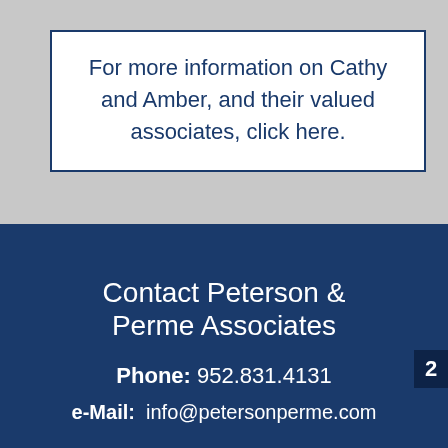For more information on Cathy and Amber, and their valued associates, click here.
Contact Peterson & Perme Associates
Phone: 952.831.4131
e-Mail: info@petersonperme.com
2